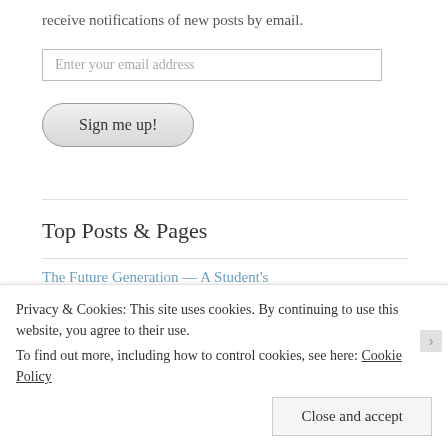receive notifications of new posts by email.
[Figure (screenshot): Email address input field with placeholder text 'Enter your email address']
[Figure (screenshot): Button labeled 'Sign me up!']
Top Posts & Pages
The Future Generation — A Student's
Privacy & Cookies: This site uses cookies. By continuing to use this website, you agree to their use.
To find out more, including how to control cookies, see here: Cookie Policy
[Figure (screenshot): Close and accept button for cookie banner]